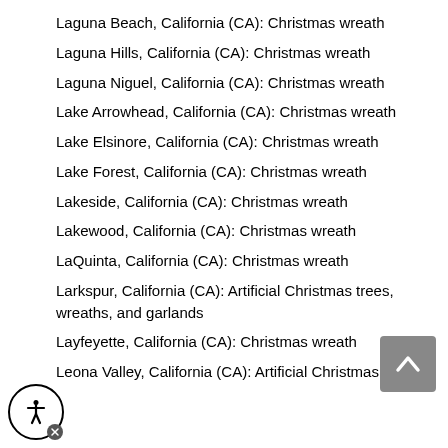Laguna Beach, California (CA): Christmas wreath
Laguna Hills, California (CA): Christmas wreath
Laguna Niguel, California (CA): Christmas wreath
Lake Arrowhead, California (CA): Christmas wreath
Lake Elsinore, California (CA): Christmas wreath
Lake Forest, California (CA): Christmas wreath
Lakeside, California (CA): Christmas wreath
Lakewood, California (CA): Christmas wreath
LaQuinta, California (CA): Christmas wreath
Larkspur, California (CA): Artificial Christmas trees, wreaths, and garlands
Layfeyette, California (CA): Christmas wreath
Leona Valley, California (CA): Artificial Christmas tree